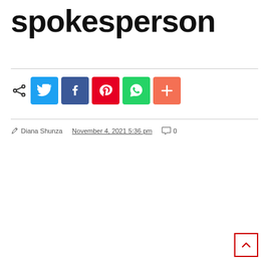spokesperson
[Figure (infographic): Social share buttons row: share icon, Twitter (blue), Facebook (dark blue), Pinterest (red), WhatsApp (green), More/Plus (orange-red)]
Diana Shunza   November 4, 2021 5:36 pm   0